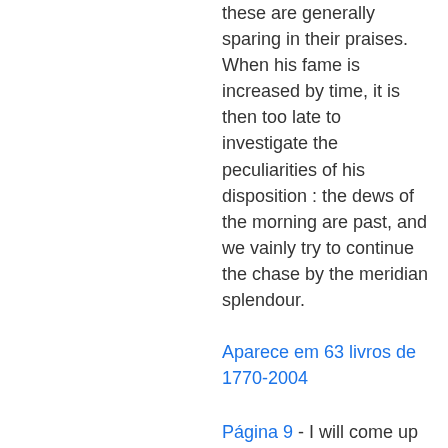these are generally sparing in their praises. When his fame is increased by time, it is then too late to investigate the peculiarities of his disposition : the dews of the morning are past, and we vainly try to continue the chase by the meridian splendour.
Aparece em 63 livros de 1770-2004
Página 9 - I will come up to you, though you know how precious my time is at present ; my hours were never worth so much money before ; but perhaps you are not sensible of this, who give